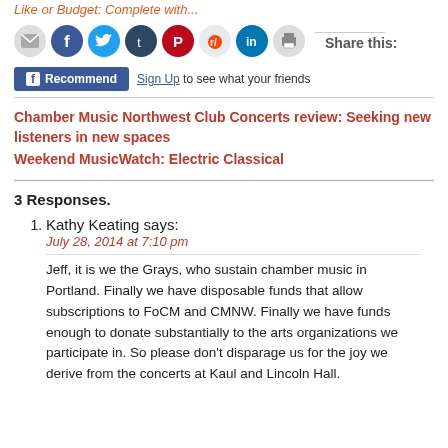Share this:
[Figure (other): Social sharing icons: email, Facebook, Twitter, Tumblr, Pinterest, Reddit, LinkedIn, print]
[Figure (other): Facebook Recommend button with Sign Up link to see what your friends like]
Chamber Music Northwest Club Concerts review: Seeking new listeners in new spaces
Weekend MusicWatch: Electric Classical
3 Responses.
Kathy Keating says:
July 28, 2014 at 7:10 pm

Jeff, it is we the Grays, who sustain chamber music in Portland. Finally we have disposable funds that allow subscriptions to FoCM and CMNW. Finally we have funds enough to donate substantially to the arts organizations we participate in. So please don't disparage us for the joy we derive from the concerts at Kaul and Lincoln Hall.